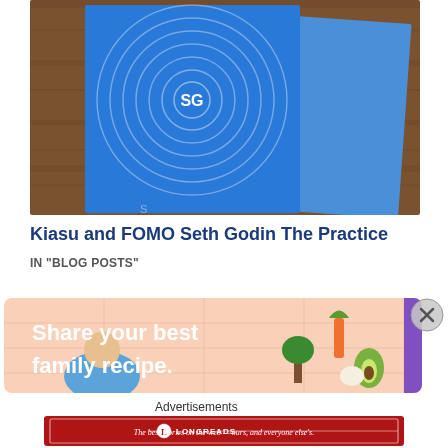[Figure (photo): Photo of a blue hardcover book with concentric circles design and 'SG' text in the center, placed on a wooden surface. A blue paperback is partially visible behind it.]
Kiasu and FOMO Seth Godin The Practice
IN "BLOG POSTS"
[Figure (illustration): Advertisement banner with peach/salmon background and grid pattern. Text says 'Share your best family recipe.' with cartoon vegetable characters (carrot, broccoli, avocado, garlic) on the right side.]
Advertisements
[Figure (logo): Longreads advertisement banner in dark red/maroon color with white border. Shows Longreads logo (L in circle) and text: 'The best stories on the web — ours, and everyone else's.']